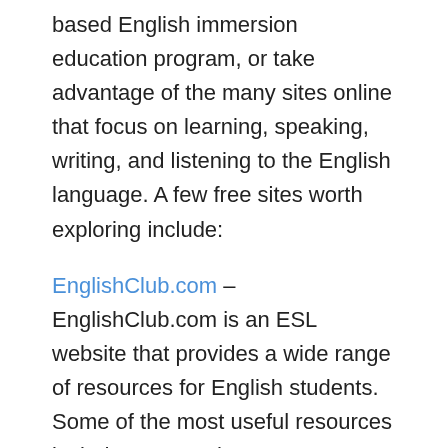based English immersion education program, or take advantage of the many sites online that focus on learning, speaking, writing, and listening to the English language. A few free sites worth exploring include:
EnglishClub.com – EnglishClub.com is an ESL website that provides a wide range of resources for English students. Some of the most useful resources include games, chat rooms, discussion forums, subtitled videos, and pronunciation tutorials.
LingQ – LingQ is an online community for people who want to practice English and other languages with native speakers. After signing up